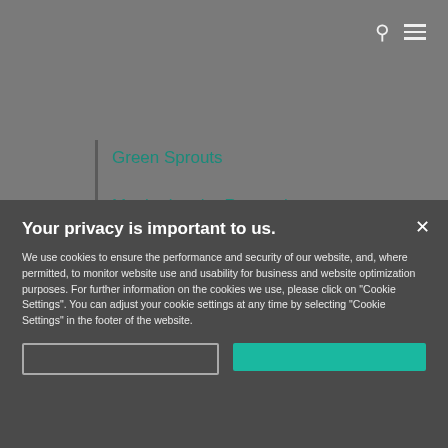Green Sprouts
Monitoring the Reopening
In West Texas, the Jury Will Return
Your privacy is important to us.
We use cookies to ensure the performance and security of our website, and, where permitted, to monitor website use and usability for business and website optimization purposes. For further information on the cookies we use, please click on "Cookie Settings". You can adjust your cookie settings at any time by selecting "Cookie Settings" in the footer of the website.